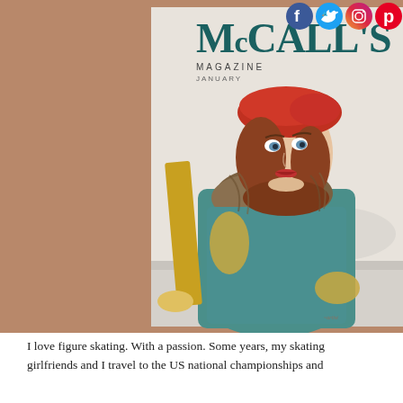[Figure (photo): A vintage McCall's Magazine cover from January showing an illustrated woman in a teal winter coat with fur collar, red beret, and yellow gloves, holding ice skates. Social media icons (Facebook, Twitter, Instagram, Pinterest) appear in the top-right corner overlaying the image. The magazine cover is displayed against a brown background.]
I love figure skating. With a passion. Some years, my skating girlfriends and I travel to the US national championships and